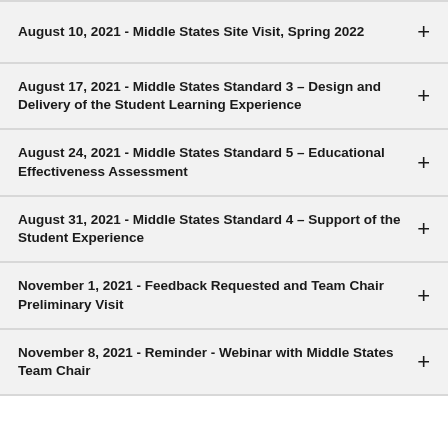August 10, 2021 - Middle States Site Visit, Spring 2022
August 17, 2021 - Middle States Standard 3 – Design and Delivery of the Student Learning Experience
August 24, 2021 - Middle States Standard 5 – Educational Effectiveness Assessment
August 31, 2021 - Middle States Standard 4 – Support of the Student Experience
November 1, 2021 - Feedback Requested and Team Chair Preliminary Visit
November 8, 2021 - Reminder - Webinar with Middle States Team Chair